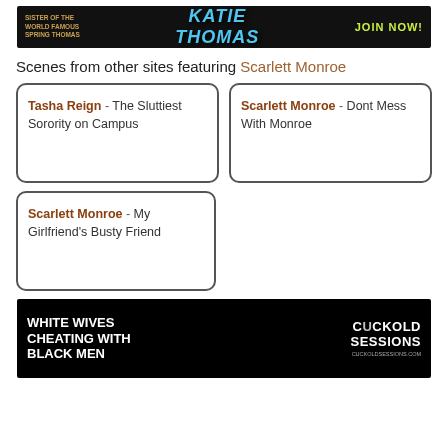[Figure (illustration): Banner ad with dark background. Left side: 'SISTER OF THE WORLD FAMOUS SPRING THOMAS' in gold text. Center: 'KATIE THOMAS' in large blue stylized text. Right: 'JOIN NOW!' in yellow-green text.]
Scenes from other sites featuring Scarlett Monroe
Tasha Reign - The Sluttiest Sorority on Campus
Scarlett Monroe - Dont Mess With Monroe
Scarlett Monroe - My Girlfriend's Busty Friend
[Figure (illustration): Banner ad with black background. Left side white bold text: 'WHITE WIVES CHEATING WITH BLACK MEN'. Right side: 'CUCKOLD SESSIONS' logo text with URL cuckoldsessions.com.]